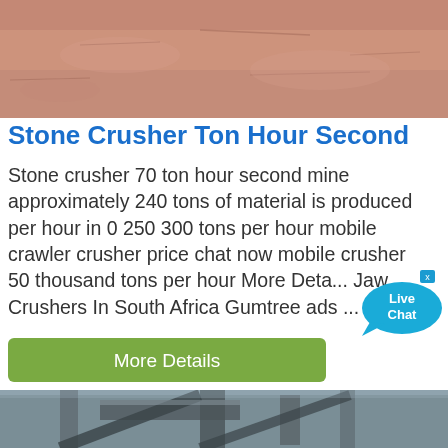[Figure (photo): Top portion of reddish-brown sandy/dirt ground surface]
Stone Crusher Ton Hour Second
Stone crusher 70 ton hour second mine approximately 240 tons of material is produced per hour in 0 250 300 tons per hour mobile crawler crusher price chat now mobile crusher 50 thousand tons per hour More Deta... Jaw Crushers In South Africa Gumtree ads ...
[Figure (other): Live Chat speech bubble widget with close X button, blue bubble with white text 'Live Chat']
[Figure (other): Green rounded rectangle button with white text 'More Details']
[Figure (photo): Industrial stone crusher / jaw crusher machinery in grey metal, large heavy equipment inside a factory/warehouse setting]